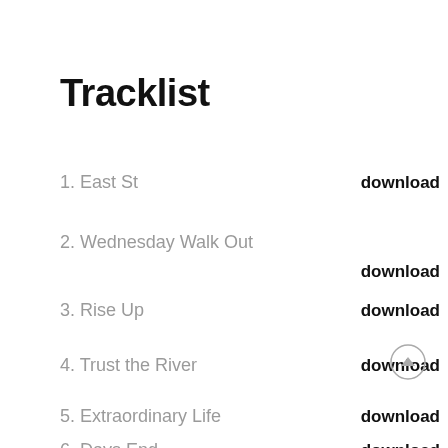Tracklist
1. East St   download
2. Wednesday Walk Out   download
3. Rise Up   download
4. Trust the River   download
5. Extraordinary Life   download
6. Days End   download